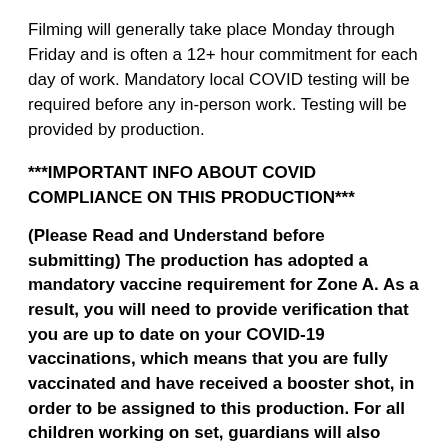Filming will generally take place Monday through Friday and is often a 12+ hour commitment for each day of work. Mandatory local COVID testing will be required before any in-person work. Testing will be provided by production.
***IMPORTANT INFO ABOUT COVID COMPLIANCE ON THIS PRODUCTION***
(Please Read and Understand before submitting) The production has adopted a mandatory vaccine requirement for Zone A. As a result, you will need to provide verification that you are up to date on your COVID-19 vaccinations, which means that you are fully vaccinated and have received a booster shot, in order to be assigned to this production. For all children working on set, guardians will also need to provide verification of vaccination+ booster as dwell.